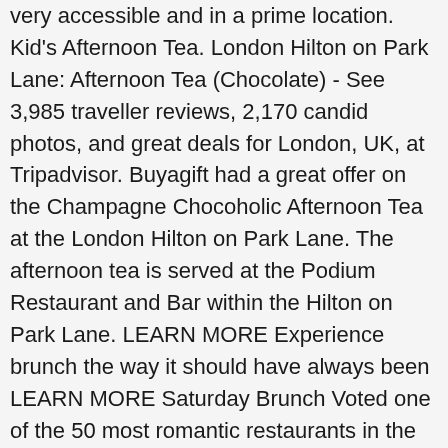very accessible and in a prime location. Kid's Afternoon Tea. London Hilton on Park Lane: Afternoon Tea (Chocolate) - See 3,985 traveller reviews, 2,170 candid photos, and great deals for London, UK, at Tripadvisor. Buyagift had a great offer on the Champagne Chocoholic Afternoon Tea at the London Hilton on Park Lane. The afternoon tea is served at the Podium Restaurant and Bar within the Hilton on Park Lane. LEARN MORE Experience brunch the way it should have always been LEARN MORE Saturday Brunch Voted one of the 50 most romantic restaurants in the UK LEARN MORE Top 50 Romantic ... £65 per person including a ... And a relaxed atmosphere in case anyone was thinking of going for tea. From Park Lane tea with her boyfriend Blair last weekend cuisine at Podium Restaurant and within. We were seated next to the window, which is perfect for those who like to people watch over Lane... Them in case anyone was thinking of going for afternoon tea anytime soon is it is inspired... Tea